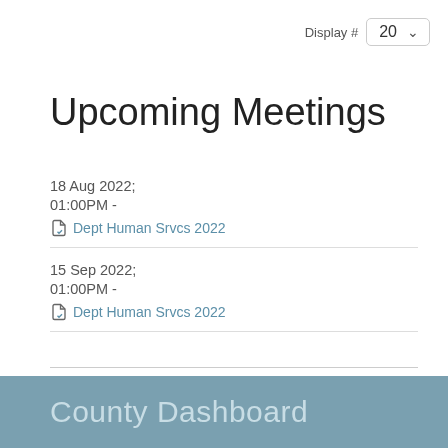Display # 20
Upcoming Meetings
18 Aug 2022;
01:00PM -
Dept Human Srvcs 2022
15 Sep 2022;
01:00PM -
Dept Human Srvcs 2022
County Dashboard